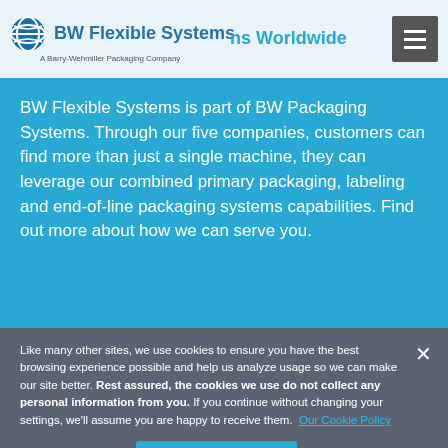BW Flexible Systems — A Barry-Wehmiller Packaging Company
BW Flexible Systems is part of BW Packaging Systems. Through our five companies, customers can find more than just a single machine, they can leverage our combined primary packaging, labeling and end-of-line packaging systems capabilities. Find out more about how we can serve you.
Like many other sites, we use cookies to ensure you have the best browsing experience possible and help us analyze usage so we can make our site better. Rest assured, the cookies we use do not collect any personal information from you. If you continue without changing your settings, we'll assume you are happy to receive them. Our Cookie Policy
Cookies Settings | Accept All Cookies